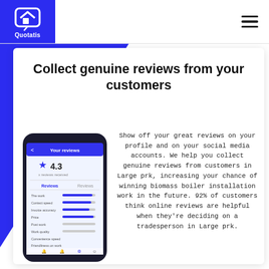[Figure (logo): Quotatis logo: white house/chat bubble icon on blue square background with 'Quotatis' text below]
Collect genuine reviews from your customers
[Figure (screenshot): Smartphone mockup showing Quotatis app 'Your reviews' screen with star rating 4.3 and review breakdown categories]
Show off your great reviews on your profile and on your social media accounts. We help you collect genuine reviews from customers in Large prk, increasing your chance of winning biomass boiler installation work in the future. 92% of customers think online reviews are helpful when they're deciding on a tradesperson in Large prk.